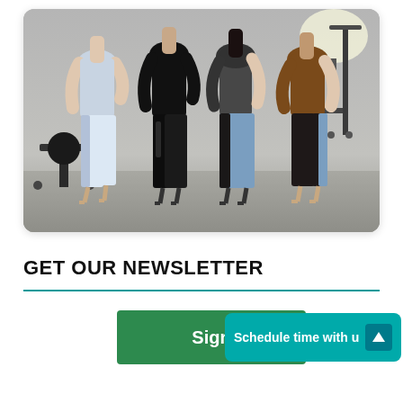[Figure (photo): Four women posing in a photography studio. They are wearing various tight-fitting pants/jeans: one in light blue jeans with snake-print side stripe, one in all-black leather pants and top, one in dark/sheer outfit with blue jeans, and one in brown top with dark jeans with blue side stripe. They are wearing high heels. Studio lighting and backdrop visible in background.]
GET OUR NEWSLETTER
[Figure (screenshot): Green signup button partially overlaid by a teal 'Schedule time with us' notification badge with an up arrow icon.]